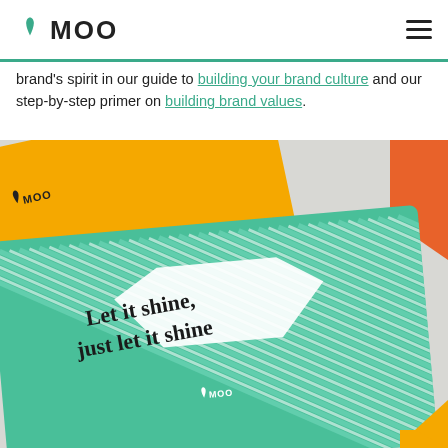MOO
brand's spirit in our guide to building your brand culture and our step-by-step primer on building brand values.
[Figure (photo): MOO branded business cards. A yellow/gold card with decorative 'W' lettering pattern and the MOO logo is partially visible at the top. A green teal card with diagonal white stripe pattern and a white hexagonal label reading 'Let it shine, just let it shine' with the MOO logo is in the foreground. Orange card corners are visible at the edges.]